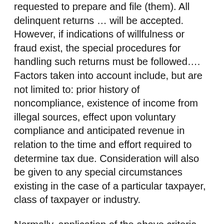requested to prepare and file (them). All delinquent returns … will be accepted. However, if indications of willfulness or fraud exist, the special procedures for handling such returns must be followed…. Factors taken into account include, but are not limited to: prior history of noncompliance, existence of income from illegal sources, effect upon voluntary compliance and anticipated revenue in relation to the time and effort required to determine tax due. Consideration will also be given to any special circumstances existing in the case of a particular taxpayer, class of taxpayer or industry.
Normally, application of the above criteria will result in enforcement of delinquency procedures for not more than six years. Enforcement beyond such period will not be undertaken without prior managerial approval.
The IRS can still request a tax return for a period